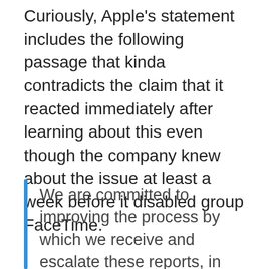Curiously, Apple's statement includes the following passage that kinda contradicts the claim that it reacted immediately after learning about this even though the company knew about the issue at least a week before it disabled group FaceTime.
We are committed to improving the process by which we receive and escalate these reports, in order to get them to the right people as fast as possible. We take the security of our products extremely seriously and we are committed to continuing to earn the trust Apple customers place in us.